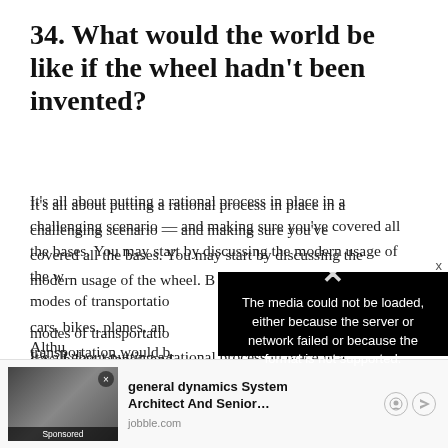34. What would the world be like if the wheel hadn't been invented?
It's all about putting a rational process in place in a challenging scenario — and making sure you've covered all the bases. You may start by discussing the modern usage of the wheel. Because modes of transportation — cars, bikes, planes, and more — transportation would be affected. However, be inventive
[Figure (screenshot): Media error overlay: black background with white text reading 'The media could not be loaded, either because the server or network failed or because the format is not supported.' with an X icon.]
Althu
[Figure (photo): Sponsored ad thumbnail showing people in an office setting, with label 'Sponsored' at the bottom.]
general dynamics System Architect And Senior... jobble.com